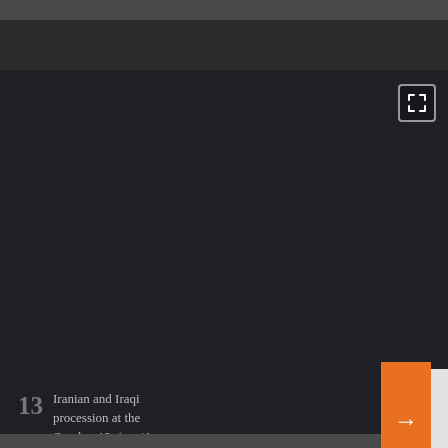[Figure (screenshot): Dark video player UI with a large dark/black video area, an expand/fullscreen button in the top right corner of the video.]
13  Iranian and Iraqi procession at the October 12. (epa/A
[Figure (screenshot): Orange arrow navigation button overlapping the caption bar and a related article card showing a document icon placeholder and article title text.]
Obituary: Mikhail Gorbachev, The La Soviet Leader, Rev Around The World, Reviled By Many A Home